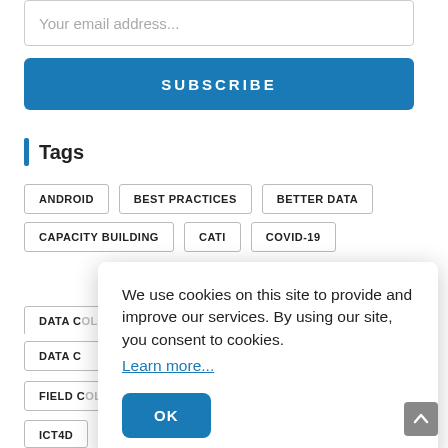Your email address...
SUBSCRIBE
Tags
ANDROID
BEST PRACTICES
BETTER DATA
CAPACITY BUILDING
CATI
COVID-19
DATA COLLECTION (partial)
DATA DRIVEN (partial)
DATA QUALITY (partial)
DATA C... (partial)
...ATION (partial)
FIELD C... (partial)
ICT4D (partial)
M&E (partial)
MOBILE (partial)
OFFLIN (partial)
We use cookies on this site to provide and improve our services. By using our site, you consent to cookies. Learn more...
OK